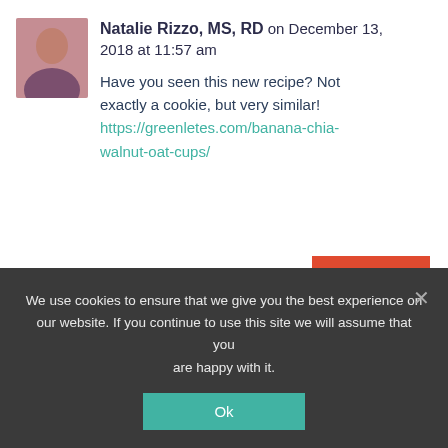Natalie Rizzo, MS, RD on December 13, 2018 at 11:57 am
Have you seen this new recipe? Not exactly a cookie, but very similar! https://greenletes.com/banana-chia-walnut-oat-cups/
REPLY
Benu on November 5, 2019 at 1:20 pm
Sounds like a delicious recipe. Can you please share whether these are instant oats.
We use cookies to ensure that we give you the best experience on our website. If you continue to use this site we will assume that you are happy with it.
Ok